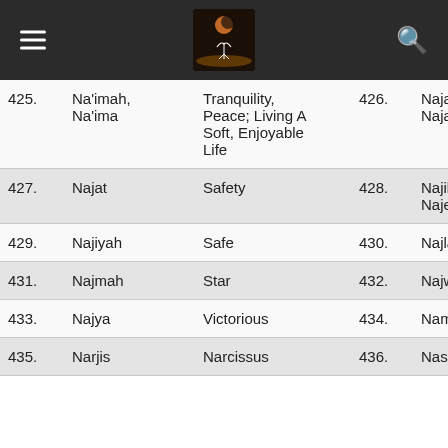Navigation header with logo
| No. | Name | Meaning | No. | Name | Meaning (partial) |
| --- | --- | --- | --- | --- | --- |
| 425. | Na'imah, Na'ima | Tranquility, Peace; Living A Soft, Enjoyable Life | 426. | Najah, Najaah | Suc… |
| 427. | Najat | Safety | 428. | Najibah, Najeeba | Dis… Of … |
| 429. | Najiyah | Safe | 430. | Najla | Of … |
| 431. | Najmah | Star | 432. | Najwa | Co… Tal… Tal… Co… |
| 433. | Najya | Victorious | 434. | Namar | Na… Mo… |
| 435. | Narjis | Narcissus | 436. | Nashida | Stu… |